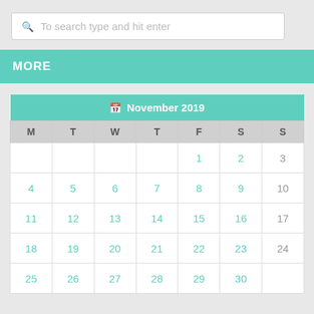To search type and hit enter
MORE
| M | T | W | T | F | S | S |
| --- | --- | --- | --- | --- | --- | --- |
|  |  |  |  | 1 | 2 | 3 |
| 4 | 5 | 6 | 7 | 8 | 9 | 10 |
| 11 | 12 | 13 | 14 | 15 | 16 | 17 |
| 18 | 19 | 20 | 21 | 22 | 23 | 24 |
| 25 | 26 | 27 | 28 | 29 | 30 |  |